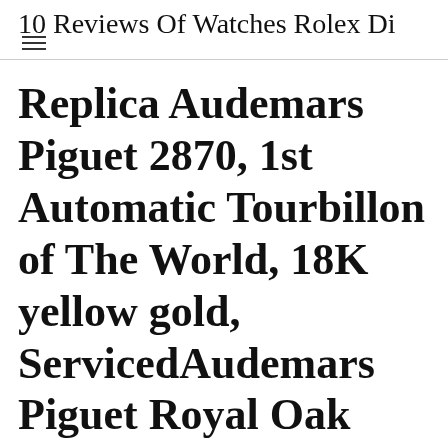10 Reviews Of Watches Rolex Di…
Replica Audemars Piguet 2870, 1st Automatic Tourbillon of The World, 18K yellow gold, ServicedAudemars Piguet Royal Oak Offshore Chronograph Carbon Ceramic 44mm on Blue…